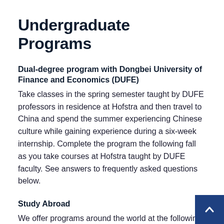Undergraduate Programs
Dual-degree program with Dongbei University of Finance and Economics (DUFE)
Take classes in the spring semester taught by DUFE professors in residence at Hofstra and then travel to China and spend the summer experiencing Chinese culture while gaining experience during a six-week internship. Complete the program the following fall as you take courses at Hofstra taught by DUFE faculty. See answers to frequently asked questions below.
Study Abroad
We offer programs around the world at the following universities: